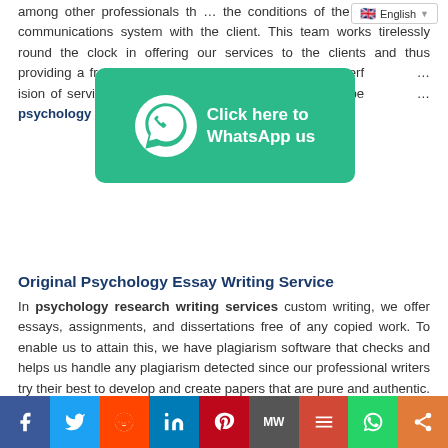among other professionals that understand the conditions of the equipment and r communications system with the client. This team works tirelessly round the clock in offering our services to the clients and thus providing a free platform to the clients as our writers perf... ision of services through... ssibility, among other be... psychology research writing services, support team.
[Figure (infographic): WhatsApp Click here to WhatsApp us banner in teal/green color with WhatsApp icon]
Original Psychology Essay Writing Service
In psychology research writing services custom writing, we offer essays, assignments, and dissertations free of any copied work. To enable us to attain this, we have plagiarism software that checks and helps us handle any plagiarism detected since our professional writers try their best to develop and create papers that are pure and authentic. We try to be the best in custom writing by trying to learn as well as advance and change with the technology for better services and to be transparent to our